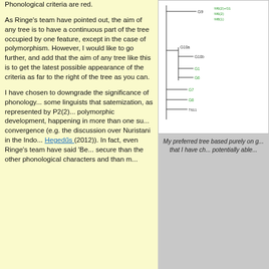Phonological criteria are red.
As Ringe's team have pointed out, the aim of any tree is to have a continuous part of the tree occupied by one feature, except in the case of polymorphism. However, I would like to go further, and add that the aim of any tree like this is to get the latest possible appearance of the criteria as far to the right of the tree as you can.
[Figure (other): A phylogenetic tree diagram showing language groups labeled G9, G10a, G10b, G1, G6, G7, G8, with criteria labels including M6(2)+G1, M6(2), M8(1) and others in green and red text.]
My preferred tree based purely on g... that I have ch... potentially able...
I have chosen to downgrade the significance of phonology... some linguists that satemization, as represented by P2(2)... polymorphic development, happening in more than one su... convergence (e.g. the discussion over Nuristani in the Indo... Hegedűs (2012)). In fact, even Ringe's team have said 'Be... secure than the other phonological characters and than m...